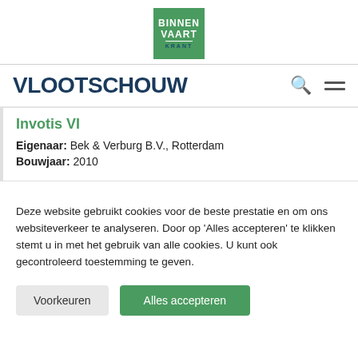[Figure (logo): Binnenvaart Krant logo - green square with white text BINNEN VAART and KRANT in dark blue]
VLOOTSCHOUW
Invotis VI
Eigenaar: Bek & Verburg B.V., Rotterdam
Bouwjaar: 2010
Deze website gebruikt cookies voor de beste prestatie en om ons websiteverkeer te analyseren. Door op 'Alles accepteren' te klikken stemt u in met het gebruik van alle cookies. U kunt ook gecontroleerd toestemming te geven.
Voorkeuren | Alles accepteren